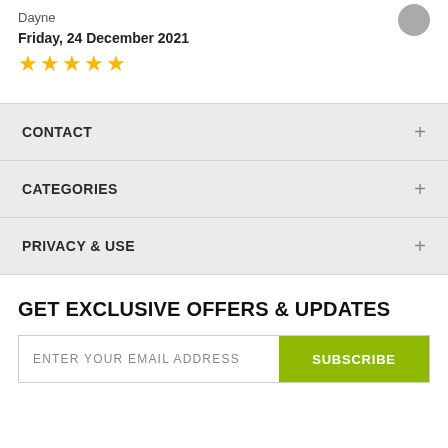Dayne
Friday, 24 December 2021
[Figure (other): Five gold star rating icons]
CONTACT
CATEGORIES
PRIVACY & USE
GET EXCLUSIVE OFFERS & UPDATES
ENTER YOUR EMAIL ADDRESS
SUBSCRIBE